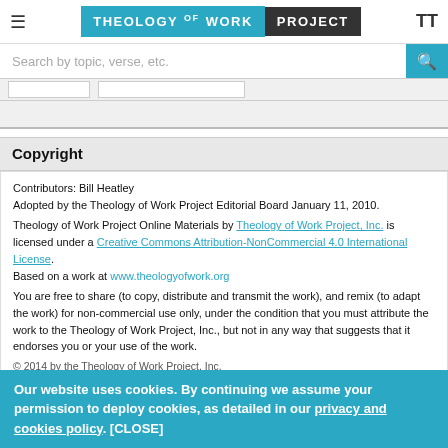≡   THEOLOGY OF WORK PROJECT   TT
Search by topic, verse, etc.
Copyright
Contributors: Bill Heatley
Adopted by the Theology of Work Project Editorial Board January 11, 2010.

Theology of Work Project Online Materials by Theology of Work Project, Inc. is licensed under a Creative Commons Attribution-NonCommercial 4.0 International License.
Based on a work at www.theologyofwork.org

You are free to share (to copy, distribute and transmit the work), and remix (to adapt the work) for non-commercial use only, under the condition that you must attribute the work to the Theology of Work Project, Inc., but not in any way that suggests that it endorses you or your use of the work.
Our website uses cookies. By continuing we assume your permission to deploy cookies, as detailed in our privacy and cookies policy. [CLOSE]